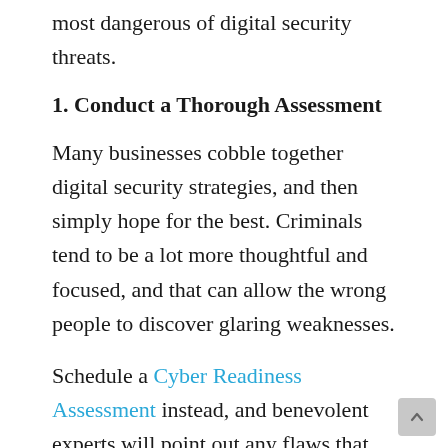most dangerous of digital security threats.
1. Conduct a Thorough Assessment
Many businesses cobble together digital security strategies, and then simply hope for the best. Criminals tend to be a lot more thoughtful and focused, and that can allow the wrong people to discover glaring weaknesses.
Schedule a Cyber Readiness Assessment instead, and benevolent experts will point out any flaws that need to be addressed. Whether that means replacing an aging, vulnerable router or something else entirely, a thorough analysis of the current